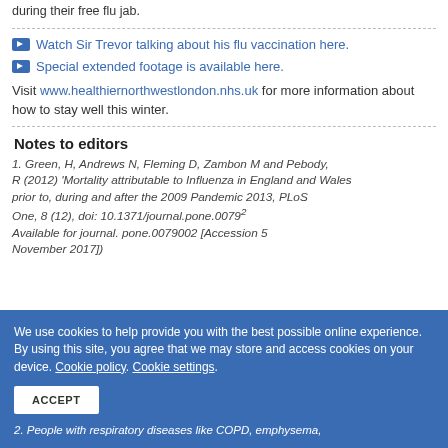during their free flu jab.
Watch Sir Trevor talking about his flu vaccination here.
Special extended footage is available here.
Visit www.healthiernorthwestlondon.nhs.uk for more information about how to stay well this winter.
Notes to editors
1. Green, H, Andrews N, Fleming D, Zambon M and Pebody, R (2012) 'Mortality attributable to influenza in England and Wales prior to, during and after the 2009 Pandemic 2013, PLoS One, 8 (12), doi: 10.1371/journal.pone.0079recoveryailure? Available for journal. pone.0079002 [Accessed 5 November 2017])
2. People with respiratory diseases like COPD, emphysema,
We use cookies to help provide you with the best possible online experience.
By using this site, you agree that we may store and access cookies on your device. Cookie policy. Cookie settings.
ACCEPT